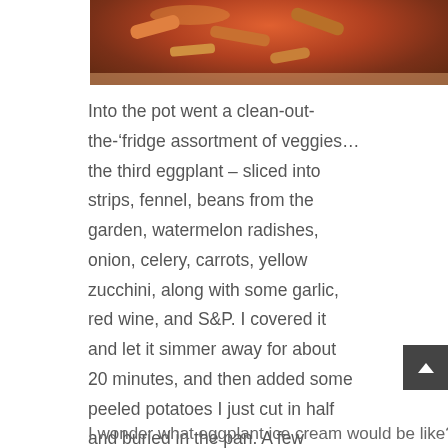[Figure (photo): Photo of a clay/terracotta pot filled with a colorful assortment of vegetables and sausage, viewed from above on a wooden surface.]
Into the pot went a clean-out-the-‘fridge assortment of veggies… the third eggplant – sliced into strips, fennel, beans from the garden, watermelon radishes, onion, celery, carrots, yellow zucchini, along with some garlic, red wine, and S&P. I covered it and let it simmer away for about 20 minutes, and then added some peeled potatoes I just cut in half and buried in the pan. A few minutes later, I added the sausage and let it cook another 10 minutes, covered. Then it went uncovered into a 375°F oven to brown the sausage and evaporate a bit of the juices.
Two totally different eggplant concepts – and they both worked well…
I wonder what eggplant ice cream would be like?